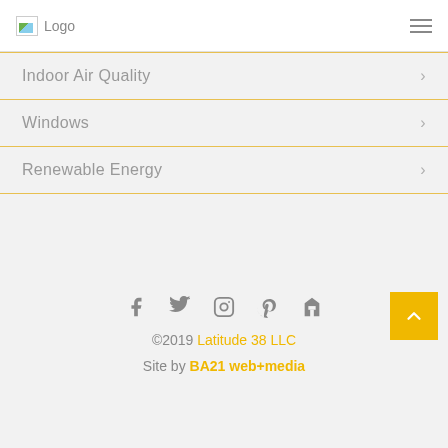Logo
Indoor Air Quality
Windows
Renewable Energy
[Figure (other): Social media icons: Facebook, Twitter, Instagram, Pinterest, Houzz]
©2019 Latitude 38 LLC · Site by BA21 web+media